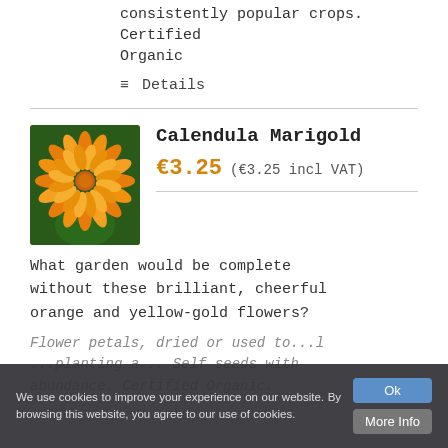consistently popular crops. Certified Organic
≡ Details
[Figure (photo): Close-up photo of a bright orange Calendula Marigold flower with dense layered petals]
Calendula Marigold
€3.25 (€3.25 incl VAT)
What garden would be complete without these brilliant, cheerful orange and yellow-gold flowers?
Flower petals (partial, obscured): ...planting a... Self seeds with abundance. Certified Organic.
We use cookies to improve your experience on our website. By browsing this website, you agree to our use of cookies.